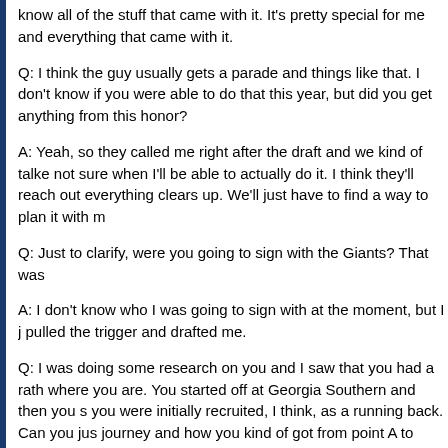know all of the stuff that came with it. It's pretty special for me and everything that came with it.
Q: I think the guy usually gets a parade and things like that. I don't know if you were able to do that this year, but did you get anything from this honor?
A: Yeah, so they called me right after the draft and we kind of talked about it. I'm not sure when I'll be able to actually do it. I think they'll reach out to me again once everything clears up. We'll just have to find a way to plan it with me being busy.
Q: Just to clarify, were you going to sign with the Giants? That was a
A: I don't know who I was going to sign with at the moment, but I just know that they pulled the trigger and drafted me.
Q: I was doing some research on you and I saw that you had a rather interesting path to where you are. You started off at Georgia Southern and then you switched, and you were initially recruited, I think, as a running back. Can you just describe that journey and how you kind of got from point A to where you are no
A: Yeah, so I was committed to Georgia Southern for a while and I